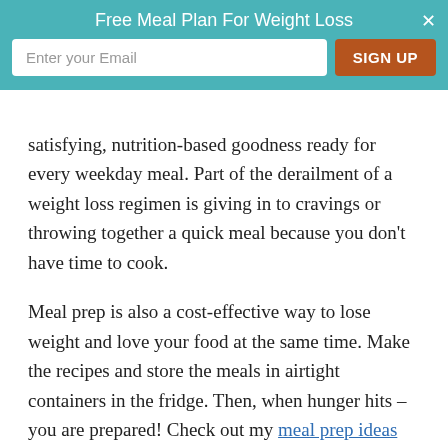[Figure (screenshot): Email signup overlay banner with teal background, title 'Free Meal Plan For Weight Loss', email input field, SIGN UP button, and close X]
satisfying, nutrition-based goodness ready for every weekday meal. Part of the derailment of a weight loss regimen is giving in to cravings or throwing together a quick meal because you don't have time to cook.
Meal prep is also a cost-effective way to lose weight and love your food at the same time. Make the recipes and store the meals in airtight containers in the fridge. Then, when hunger hits – you are prepared! Check out my meal prep ideas post for a ton of meal prep ideas to get you started.
3. FALLING INTO THE FAKE